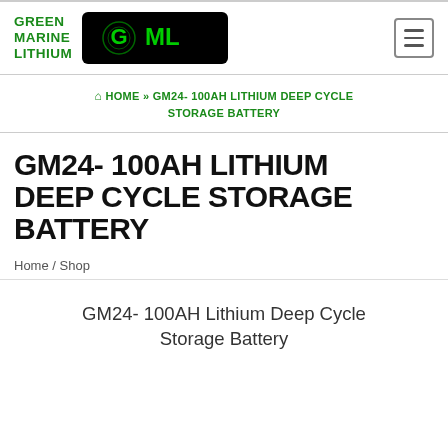GREEN MARINE LITHIUM | GML logo | hamburger menu
🏠 HOME » GM24- 100AH LITHIUM DEEP CYCLE STORAGE BATTERY
GM24- 100AH LITHIUM DEEP CYCLE STORAGE BATTERY
Home / Shop
GM24- 100AH Lithium Deep Cycle Storage Battery